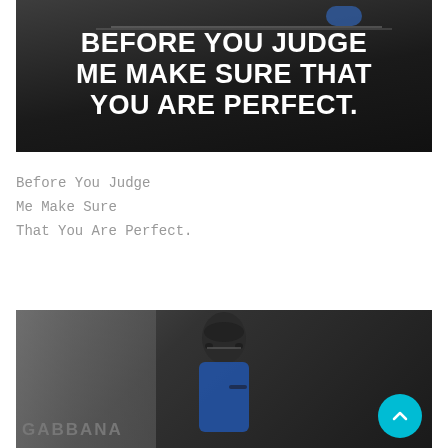[Figure (photo): Dark motivational quote image with bold white text on dark background. Text reads: BEFORE YOU JUDGE ME MAKE SURE THAT YOU ARE PERFECT.]
Before You Judge
Me Make Sure
That You Are Perfect.
[Figure (photo): Photo of a man wearing sunglasses and a blue shirt, talking on a phone, standing in front of a Dolce & Gabbana store sign.]